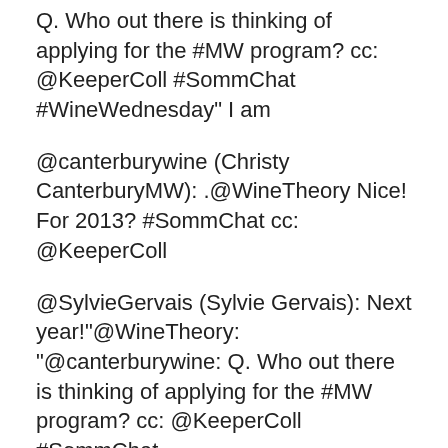Q. Who out there is thinking of applying for the #MW program? cc: @KeeperColl #SommChat #WineWednesday" I am
@canterburywine (Christy CanterburyMW): .@WineTheory Nice! For 2013? #SommChat cc: @KeeperColl
@SylvieGervais (Sylvie Gervais): Next year!"@WineTheory: "@canterburywine: Q. Who out there is thinking of applying for the #MW program? cc: @KeeperColl #SommChat
@canterburywine (Christy CanterburyMW): .@SylvieGervais Have any questions about what to expect of #MW program? Ask me any time #SommChat cc: @KeeperColl